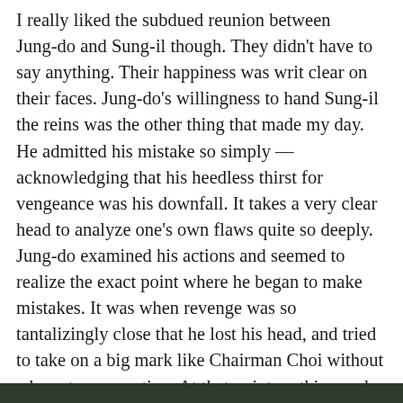I really liked the subdued reunion between Jung-do and Sung-il though. They didn't have to say anything. Their happiness was writ clear on their faces. Jung-do's willingness to hand Sung-il the reins was the other thing that made my day. He admitted his mistake so simply — acknowledging that his heedless thirst for vengeance was his downfall. It takes a very clear head to analyze one's own flaws quite so deeply. Jung-do examined his actions and seemed to realize the exact point where he began to make mistakes. It was when revenge was so tantalizingly close that he lost his head, and tried to take on a big mark like Chairman Choi without adequate preparation. At that point, nothing and no one could have stopped him. But two years of reflection had sobered him enough to realize that he needs to keep his own feelings out of this, if the con is to be a success. And that Sung-il is the real heart of their team.
[Figure (other): Dark green/olive colored bar or strip at the bottom of the page]